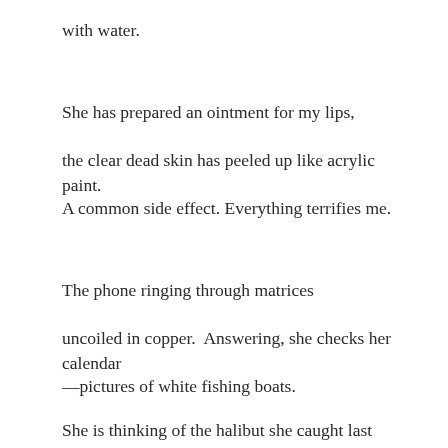with water.
She has prepared an ointment for my lips,
the clear dead skin has peeled up like acrylic paint.
A common side effect. Everything terrifies me.
The phone ringing through matrices
uncoiled in copper.  Answering, she checks her calendar
—pictures of white fishing boats.
She is thinking of the halibut she caught last summer
off the coast of North Carolina, its hard thresher